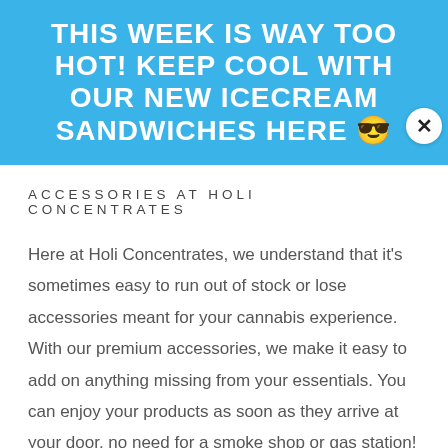THIS WEEK IS WAY TOO HOT! KEEP COOL WITH OUR NEW ICECREAM SANDWICHES HERE 😎
ACCESSORIES AT HOLI CONCENTRATES
Here at Holi Concentrates, we understand that it's sometimes easy to run out of stock or lose accessories meant for your cannabis experience. With our premium accessories, we make it easy to add on anything missing from your essentials. You can enjoy your products as soon as they arrive at your door, no need for a smoke shop or gas station!